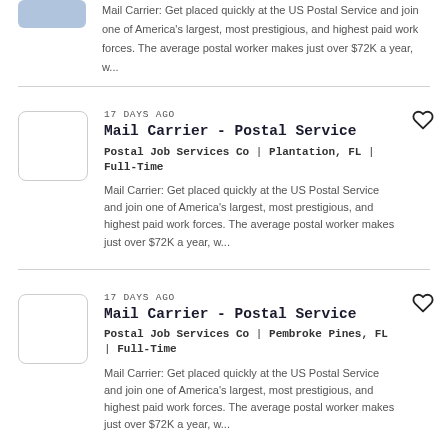Mail Carrier: Get placed quickly at the US Postal Service and join one of America's largest, most prestigious, and highest paid work forces. The average postal worker makes just over $72K a year, w...
17 DAYS AGO
Mail Carrier - Postal Service
Postal Job Services Co | Plantation, FL | Full-Time
Mail Carrier: Get placed quickly at the US Postal Service and join one of America's largest, most prestigious, and highest paid work forces. The average postal worker makes just over $72K a year, w...
17 DAYS AGO
Mail Carrier - Postal Service
Postal Job Services Co | Pembroke Pines, FL | Full-Time
Mail Carrier: Get placed quickly at the US Postal Service and join one of America's largest, most prestigious, and highest paid work forces. The average postal worker makes just over $72K a year, w...